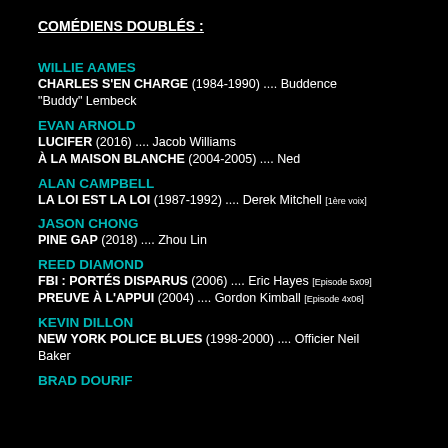COMÉDIENS DOUBLÉS :
WILLIE AAMES
CHARLES S'EN CHARGE (1984-1990) .... Buddence "Buddy" Lembeck
EVAN ARNOLD
LUCIFER (2016) .... Jacob Williams
À LA MAISON BLANCHE (2004-2005) .... Ned
ALAN CAMPBELL
LA LOI EST LA LOI (1987-1992) .... Derek Mitchell [1ère voix]
JASON CHONG
PINE GAP (2018) .... Zhou Lin
REED DIAMOND
FBI : PORTÉS DISPARUS (2006) .... Eric Hayes [Episode 5x09]
PREUVE À L'APPUI (2004) .... Gordon Kimball [Episode 4x06]
KEVIN DILLON
NEW YORK POLICE BLUES (1998-2000) .... Officier Neil Baker
BRAD DOURIF